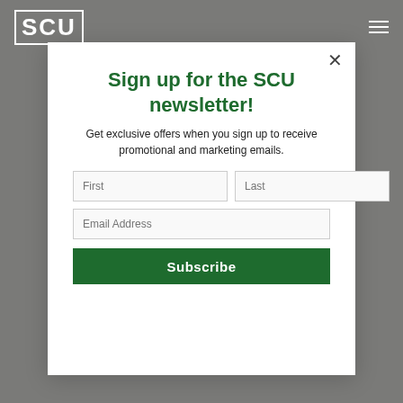SCU
Sign up for the SCU newsletter!
Get exclusive offers when you sign up to receive promotional and marketing emails.